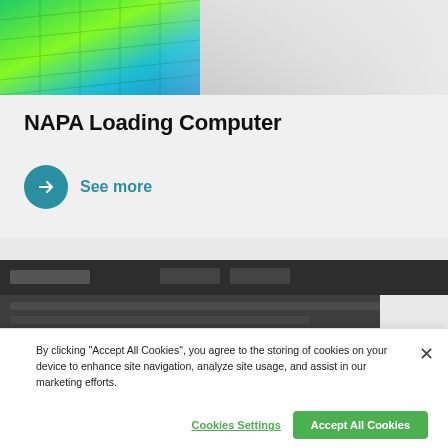[Figure (screenshot): Top portion of a colorful simulation/mesh image (green/blue heatmap) at the top of the card]
NAPA Loading Computer
See more
[Figure (screenshot): Dark UI screenshot of a software application, partially visible at bottom of page]
By clicking “Accept All Cookies”, you agree to the storing of cookies on your device to enhance site navigation, analyze site usage, and assist in our marketing efforts.
Cookies Settings
Accept All Cookies